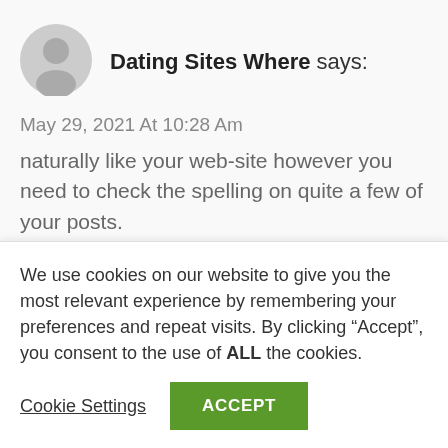[Figure (illustration): Gray circular avatar/profile placeholder icon]
Dating Sites Where says:
May 29, 2021 At 10:28 Am
naturally like your web-site however you need to check the spelling on quite a few of your posts.

Many of them are rife with spelling issues and I in finding it very bothersome to tell the truth on the other hand I'll certainly
We use cookies on our website to give you the most relevant experience by remembering your preferences and repeat visits. By clicking “Accept”, you consent to the use of ALL the cookies.
Cookie Settings
ACCEPT